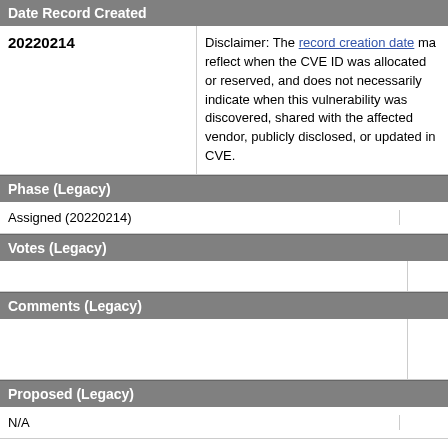Date Record Created
| Date | Disclaimer |
| --- | --- |
| 20220214 | Disclaimer: The record creation date may reflect when the CVE ID was allocated or reserved, and does not necessarily indicate when this vulnerability was discovered, shared with the affected vendor, publicly disclosed, or updated in CVE. |
Phase (Legacy)
| Value |
| --- |
| Assigned (20220214) |
Votes (Legacy)
| Value |
| --- |
|  |
Comments (Legacy)
| Value |
| --- |
|  |
Proposed (Legacy)
| Value |
| --- |
| N/A |
This is a record on the CVE List, which provides common identifiers for publicly known cybersecurity vulnerabilities.
SEARCH CVE USING KEYWORDS:
Submit
You can also search by reference using the CVE Reference Maps.
For More Information: CVE Request Web Form (select "Other")